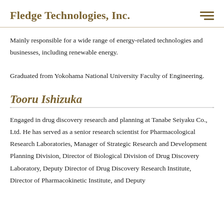Fledge Technologies, Inc.
Mainly responsible for a wide range of energy-related technologies and businesses, including renewable energy.
Graduated from Yokohama National University Faculty of Engineering.
Tooru Ishizuka
Engaged in drug discovery research and planning at Tanabe Seiyaku Co., Ltd. He has served as a senior research scientist for Pharmacological Research Laboratories, Manager of Strategic Research and Development Planning Division, Director of Biological Division of Drug Discovery Laboratory, Deputy Director of Drug Discovery Research Institute, Director of Pharmacokinetic Institute, and Deputy